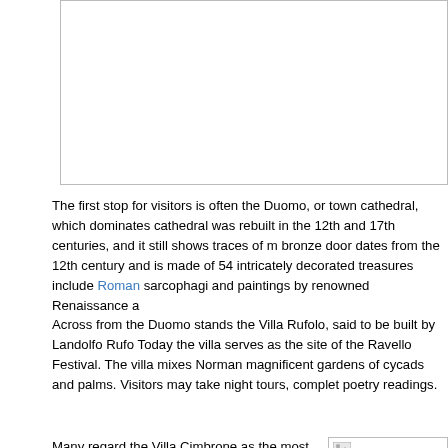[Figure (photo): Image placeholder box at top of page, appears to be a photo related to Ravello/Amalfi coast (clipped/loading).]
The first stop for visitors is often the Duomo, or town cathedral, which dominates cathedral was rebuilt in the 12th and 17th centuries, and it still shows traces of m bronze door dates from the 12th century and is made of 54 intricately decorated treasures include Roman sarcophagi and paintings by renowned Renaissance a
Across from the Duomo stands the Villa Rufolo, said to be built by Landolfo Rufo Today the villa serves as the site of the Ravello Festival. The villa mixes Norman magnificent gardens of cycads and palms. Visitors may take night tours, complet poetry readings.
Many regard the Villa Cimbrone as the most beautiful hotel and public garden on the coast of Amalfi. The villa was built in the 11th century, and then passed from one powerful family to another. A British baron purchased and restored the villa in 1904. Famous admirers include Virginia Woolf, E.M. Forster, Winston Churchill and D.H. Lawrence.
[Figure (photo): Small image thumbnail on the right side next to the Villa Cimbrone paragraph, appears to be loading (broken image icon visible).]
Those interested in shopping will find an abundance of outdoor markets and small boutiques offering handcrafted items. Bargaining is not uncommon, so visitors should